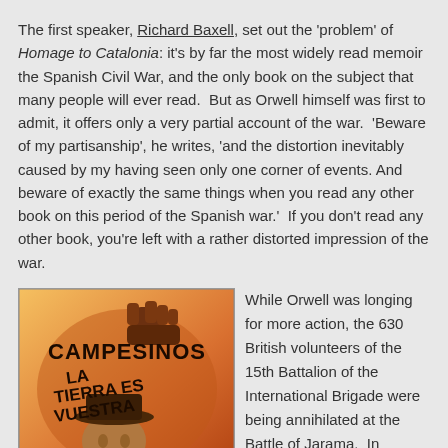The first speaker, Richard Baxell, set out the 'problem' of Homage to Catalonia: it's by far the most widely read memoir the Spanish Civil War, and the only book on the subject that many people will ever read.  But as Orwell himself was first to admit, it offers only a very partial account of the war.  'Beware of my partisanship', he writes, 'and the distortion inevitably caused by my having seen only one corner of events. And beware of exactly the same things when you read any other book on this period of the Spanish war.'  If you don't read any other book, you're left with a rather distorted impression of the war.
[Figure (illustration): Spanish Civil War propaganda poster reading 'CAMPESINOS LA TIERRA ES VUESTRA' with an illustration of a raised fist and a peasant figure.]
While Orwell was longing for more action, the 630 British volunteers of the 15th Battalion of the International Brigade were being annihilated at the Battle of Jarama.  In